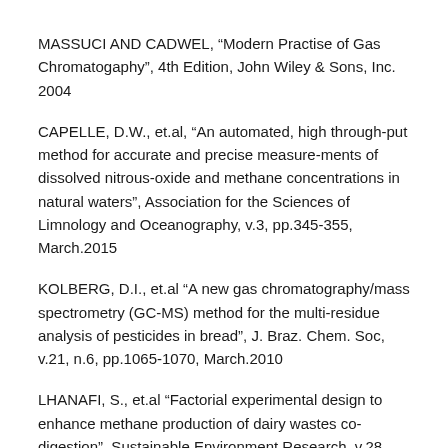MASSUCI AND CADWEL, “Modern Practise of Gas Chromatogaphy”, 4th Edition, John Wiley & Sons, Inc. 2004
CAPELLE, D.W., et.al, “An automated, high through-put method for accurate and precise measure-ments of dissolved nitrous-oxide and methane concentrations in natural waters”, Association for the Sciences of Limnology and Oceanography, v.3, pp.345-355, March.2015
KOLBERG, D.I., et.al “A new gas chromatography/mass spectrometry (GC-MS) method for the multi-residue analysis of pesticides in bread”, J. Braz. Chem. Soc, v.21, n.6, pp.1065-1070, March.2010
LHANAFI, S., et.al “Factorial experimental design to enhance methane production of dairy wastes co-digestion”, Sustainable Environment Research, v.28, n.6, pp.389-395, Nov. 2018